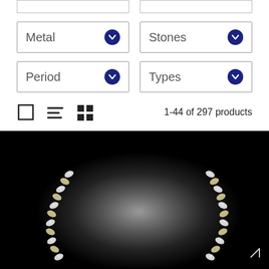[Figure (screenshot): E-commerce jewelry filter interface showing dropdown filters for Metal, Stones, Period, Types, view toggle icons, and product count '1-44 of 297 products']
1-44 of 297 products
[Figure (photo): Close-up photo of two diamond and gold chain bracelets/necklaces on a black background with radial grey gradient spotlight]